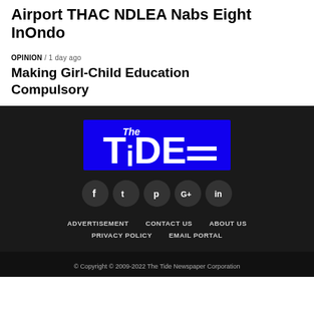Airport THAC NDLEA Nabs Eight InOndo
OPINION / 1 day ago
Making Girl-Child Education Compulsory
[Figure (logo): The Tide newspaper logo — blue background with white stylized text 'The TiDE']
[Figure (infographic): Social media icons: Facebook, Twitter, Pinterest, Google+, LinkedIn — dark circular buttons]
ADVERTISEMENT   CONTACT US   ABOUT US   PRIVACY POLICY   EMAIL PORTAL
© Copyright © 2009-2022 The Tide Newspaper Corporation